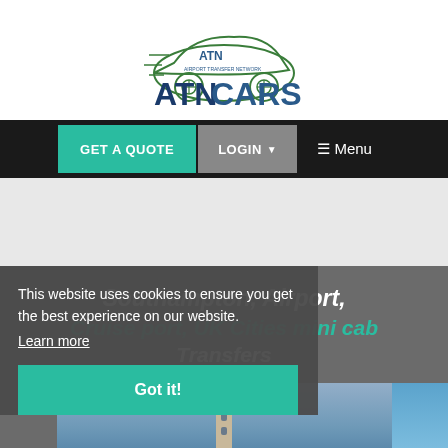[Figure (logo): ATN Cars logo — Airport Transfer Network. Green car illustration above text 'ATN CARS' in bold dark blue letters with green 'ATN' initials and small text 'AIRPORT TRANSFER NETWORK'.]
[Figure (screenshot): Navigation bar with teal 'GET A QUOTE' button, grey 'LOGIN' button with dropdown arrow, and white '☰ Menu' text on dark background.]
[Figure (screenshot): Grey advertisement placeholder area.]
Southampton, Airport, Cruise port, UK Cities mini cab Transfers
This website uses cookies to ensure you get the best experience on our website.
Learn more
[Figure (screenshot): Cookie consent 'Got it!' button in teal.]
[Figure (photo): Partial view of a photo showing a landmark tower against a blue sky.]